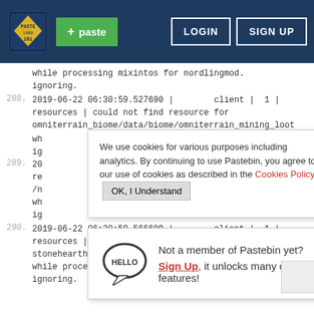Pastebin header with logo, + paste button, LOGIN and SIGN UP buttons
while processing mixintos for nordlingmod.
ignoring.
288. 2019-06-22 06:30:59.527690 | client | 1 |
resources | could not find resource for
omniterrain_biome/data/biome/omniterrain_mining_loot
wh
ig
20
re
/n
wh
ig
[Figure (screenshot): Cookie consent popup: 'We use cookies for various purposes including analytics. By continuing to use Pastebin, you agree to our use of cookies as described in the Cookies Policy. OK, I Understand']
[Figure (screenshot): Sign up popup with Hello speech bubble: 'Not a member of Pastebin yet? Sign Up, it unlocks many cool features!']
290. 2019-06-22 06:30:59.566609 | client | 1 |
resources | could not find resource for
stonehearth_ace/nordlingmod/entities/weapons/ace_abi
while processing mixintos for nordlingmod.
ignoring.